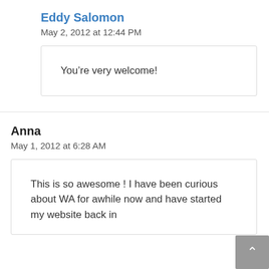Eddy Salomon
May 2, 2012 at 12:44 PM
You’re very welcome!
Anna
May 1, 2012 at 6:28 AM
This is so awesome ! I have been curious about WA for awhile now and have started my website back in